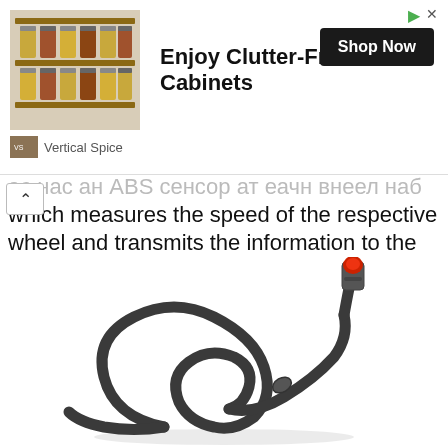[Figure (photo): Advertisement banner showing a spice rack organizer with text 'Enjoy Clutter-Free Cabinets', 'Shop Now' button, and 'Vertical Spice' brand name]
...has an ABS sensor at each wheel hub which measures the speed of the respective wheel and transmits the information to the ABS control unit. If a sensor develops a defect and sends inaccurate or no speed information, the ABS light illuminates in the instrument cluster.
[Figure (photo): Photo of an ABS wheel speed sensor with black cable coiled in a loop and a red connector tip]